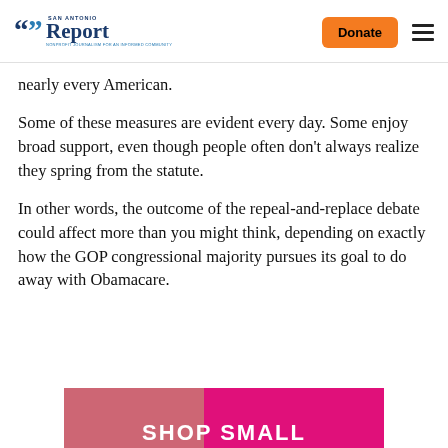San Antonio Report — Donate
nearly every American.
Some of these measures are evident every day. Some enjoy broad support, even though people often don't always realize they spring from the statute.
In other words, the outcome of the repeal-and-replace debate could affect more than you might think, depending on exactly how the GOP congressional majority pursues its goal to do away with Obamacare.
[Figure (photo): Advertisement banner with pink/magenta background, partially visible photo of a person, and text 'SHOP SMALL' in white letters]